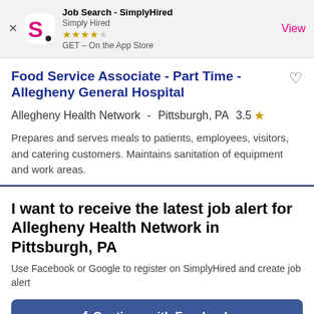[Figure (screenshot): SimplyHired app store banner with logo, star rating, and View button]
Food Service Associate - Part Time - Allegheny General Hospital
Allegheny Health Network -  Pittsburgh, PA  3.5 ★
Prepares and serves meals to patients, employees, visitors, and catering customers. Maintains sanitation of equipment and work areas.
I want to receive the latest job alert for Allegheny Health Network in Pittsburgh, PA
Use Facebook or Google to register on SimplyHired and create job alert
f  Continue with Facebook
G  Continue with Google